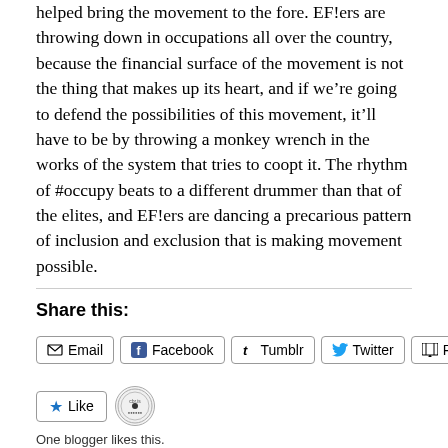helped bring the movement to the fore. EF!ers are throwing down in occupations all over the country, because the financial surface of the movement is not the thing that makes up its heart, and if we’re going to defend the possibilities of this movement, it’ll have to be by throwing a monkey wrench in the works of the system that tries to coopt it. The rhythm of #occupy beats to a different drummer than that of the elites, and EF!ers are dancing a precarious pattern of inclusion and exclusion that is making movement possible.
Share this:
Email
Facebook
Tumblr
Twitter
Print
One blogger likes this.